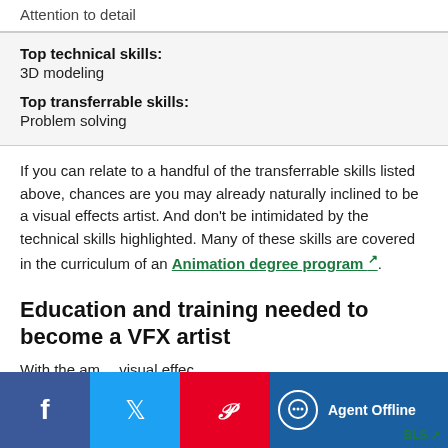Attention to detail
Top technical skills: 3D modeling
Top transferrable skills: Problem solving
If you can relate to a handful of the transferrable skills listed above, chances are you may already naturally inclined to be a visual effects artist. And don't be intimidated by the technical skills highlighted. Many of these skills are covered in the curriculum of an Animation degree program.
Education and training needed to become a VFX artist
With the am... visual effec... typically re...
[Figure (other): Social media share bar with Facebook, Twitter, Pinterest icons and Agent Offline chat button]